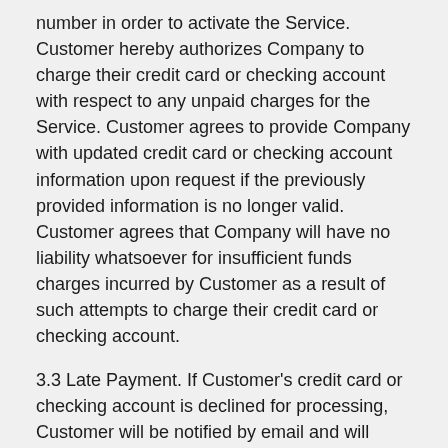number in order to activate the Service. Customer hereby authorizes Company to charge their credit card or checking account with respect to any unpaid charges for the Service. Customer agrees to provide Company with updated credit card or checking account information upon request if the previously provided information is no longer valid. Customer agrees that Company will have no liability whatsoever for insufficient funds charges incurred by Customer as a result of such attempts to charge their credit card or checking account.
3.3 Late Payment. If Customer's credit card or checking account is declined for processing, Customer will be notified by email and will have until the next billing date to remain current. Charges not paid in full within thirty (30) days of the billing date will be past due and subject to a suspension in service.
3.4 Billing Period. Customer may select monthly